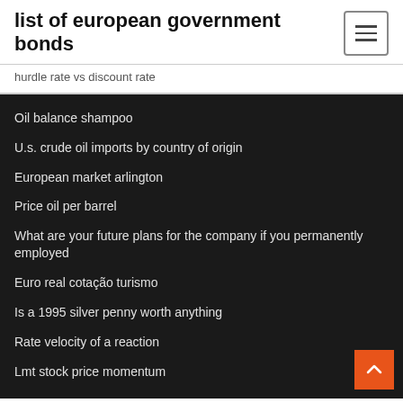list of european government bonds
hurdle rate vs discount rate
Oil balance shampoo
U.s. crude oil imports by country of origin
European market arlington
Price oil per barrel
What are your future plans for the company if you permanently employed
Euro real cotação turismo
Is a 1995 silver penny worth anything
Rate velocity of a reaction
Lmt stock price momentum